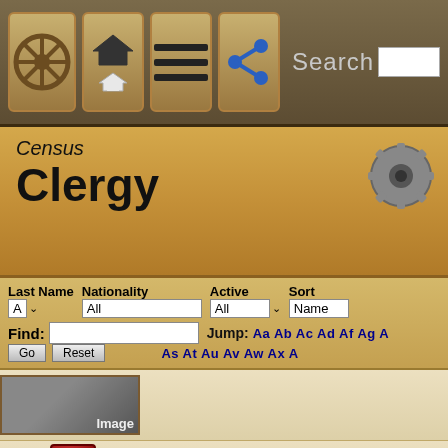Census Clergy - navigation bar with search
Census
Clergy
| Last Name | Nationality | Active | Sort |
| --- | --- | --- | --- |
| A | All | All | Name |
Find: [input] Jump: Aa Ab Ac Ad Af Ag A... As At Au Av Aw Ax A...
[Figure (screenshot): clergy entry with silhouette image placeholder labeled 'Image' and C icon]
[Figure (screenshot): Athanasios clergy entry: Archbishop of Sinai (1707-1720)* Orthodox Church of M... born unknown, No Image placeholder, C icon]